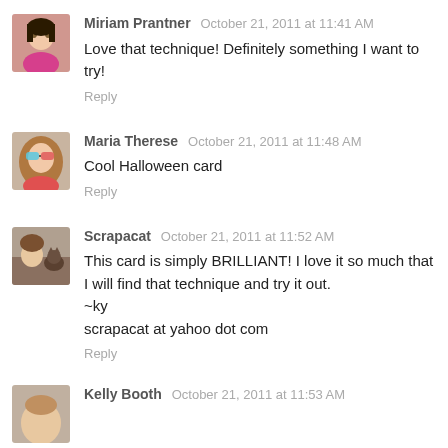[Figure (photo): Avatar photo of Miriam Prantner - young woman in pink top]
Miriam Prantner  October 21, 2011 at 11:41 AM
Love that technique! Definitely something I want to try!
Reply
[Figure (photo): Avatar photo of Maria Therese - woman with sunglasses]
Maria Therese  October 21, 2011 at 11:48 AM
Cool Halloween card
Reply
[Figure (photo): Avatar photo of Scrapacat - person with cat]
Scrapacat  October 21, 2011 at 11:52 AM
This card is simply BRILLIANT! I love it so much that I will find that technique and try it out.
~ky
scrapacat at yahoo dot com
Reply
[Figure (photo): Avatar photo of Kelly Booth - partial view]
Kelly Booth  October 21, 2011 at 11:53 AM